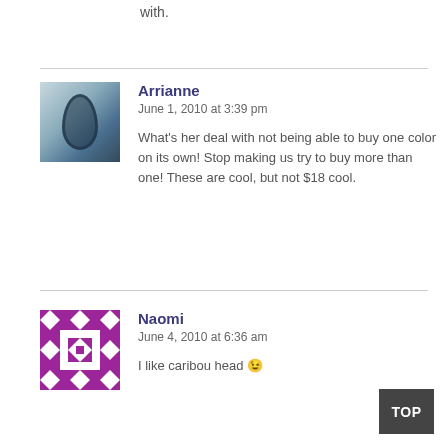with.
Arrianne
June 1, 2010 at 3:39 pm

What's her deal with not being able to buy one color on its own! Stop making us try to buy more than one! These are cool, but not $18 cool.
Naomi
June 4, 2010 at 6:36 am

I like caribou head 😀